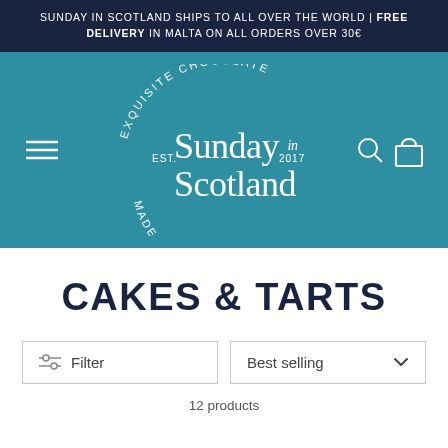SUNDAY IN SCOTLAND SHIPS TO ALL OVER THE WORLD | FREE DELIVERY IN MALTA ON ALL ORDERS OVER 30€
[Figure (logo): Sunday in Scotland logo with circular text 'EXQUISITE CHOCOLATE' on top and 'MADE FOR IDLE HANDS' on bottom, with 'EST.' and '2017' on sides, and decorative 'Sunday in Scotland' script text in center. Teal/blue background with hamburger menu, search and bag icons.]
CAKES & TARTS
Filter
Best selling
12 products